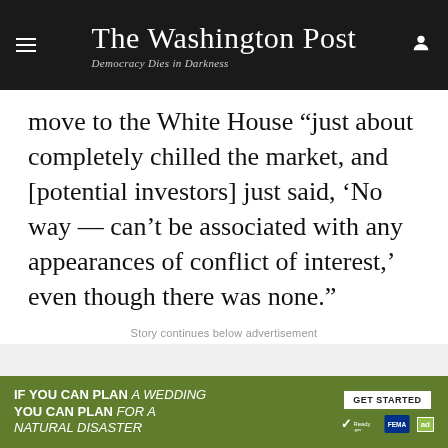The Washington Post — Democracy Dies in Darkness
move to the White House “just about completely chilled the market, and [potential investors] just said, ‘No way — can’t be associated with any appearances of conflict of interest,’ even though there was none.”
Story continues below advertisement
[Figure (other): Advertisement placeholder area (grey box)]
[Figure (other): Advertisement banner: IF YOU CAN PLAN A WEDDING YOU CAN PLAN FOR A NATURAL DISASTER — GET STARTED button with Ready.gov and FEMA logos]